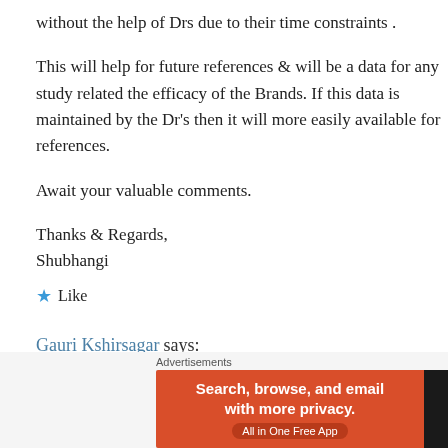without the help of Drs due to their time constraints .
This will help for future references & will be a data for any study related the efficacy of the Brands. If this data is maintained by the Dr’s then it will more easily available for references.
Await your valuable comments.
Thanks & Regards,
Shubhangi
★ Like
Gauri Kshirsagar says:
December 17, 2016 at 1:55 pm
[Figure (screenshot): DuckDuckGo advertisement banner: orange left panel with text 'Search, browse, and email with more privacy.' and 'All in One Free App', dark right panel with DuckDuckGo logo and name. Labeled 'Advertisements' above.]